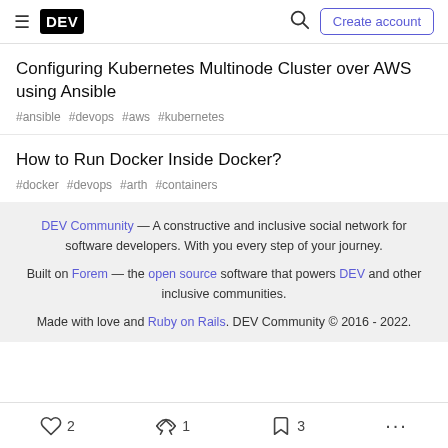DEV — Create account
Configuring Kubernetes Multinode Cluster over AWS using Ansible
#ansible #devops #aws #kubernetes
How to Run Docker Inside Docker?
#docker #devops #arth #containers
DEV Community — A constructive and inclusive social network for software developers. With you every step of your journey. Built on Forem — the open source software that powers DEV and other inclusive communities. Made with love and Ruby on Rails. DEV Community © 2016 - 2022.
2  1  3  ...